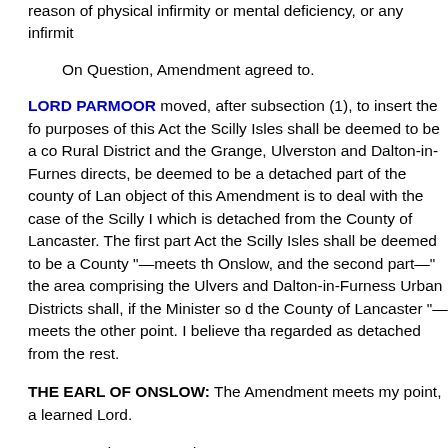reason of physical infirmity or mental deficiency, or any infirmit
On Question, Amendment agreed to.
LORD PARMOOR moved, after subsection (1), to insert the fo purposes of this Act the Scilly Isles shall be deemed to be a co Rural District and the Grange, Ulverston and Dalton-in-Furnes directs, be deemed to be a detached part of the county of Lan object of this Amendment is to deal with the case of the Scilly I which is detached from the County of Lancaster. The first part Act the Scilly Isles shall be deemed to be a County "—meets th Onslow, and the second part—" the area comprising the Ulvers and Dalton-in-Furness Urban Districts shall, if the Minister so d the County of Lancaster "—meets the other point. I believe tha regarded as detached from the rest.
THE EARL OF ONSLOW: The Amendment meets my point, a learned Lord.
Amendment moved—